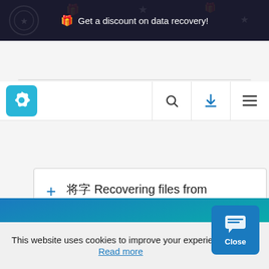🎁 Get a discount on data recovery!
[Figure (screenshot): Navigation bar with settings gear logo icon on teal background, search icon, blue download icon, and hamburger menu icon]
🔲🔲 Recovering files from unallocated disk space
This website uses cookies to improve your experience. Read more
[Figure (infographic): Blue-to-teal gradient footer banner with a chat/close button overlay]